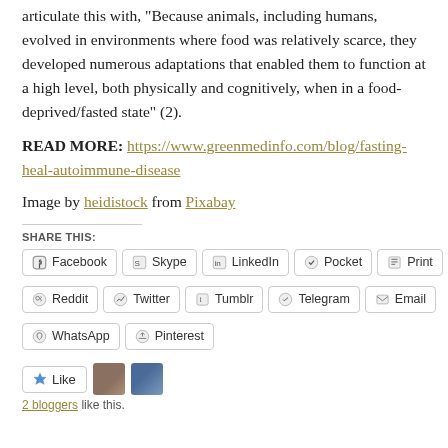articulate this with, "Because animals, including humans, evolved in environments where food was relatively scarce, they developed numerous adaptations that enabled them to function at a high level, both physically and cognitively, when in a food-deprived/fasted state" (2).
READ MORE: https://www.greenmedinfo.com/blog/fasting-heal-autoimmune-disease
Image by heidistock from Pixabay
SHARE THIS:
Facebook
Skype
LinkedIn
Pocket
Print
Reddit
Twitter
Tumblr
Telegram
Email
WhatsApp
Pinterest
Like
2 bloggers like this.